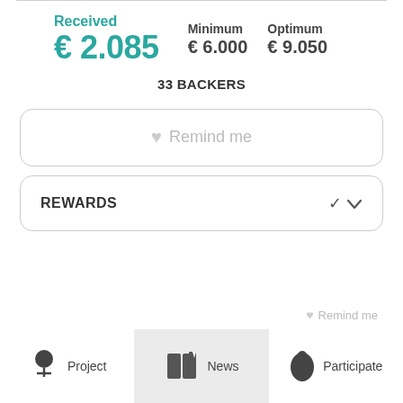Received € 2.085
Minimum € 6.000
Optimum € 9.050
33 BACKERS
♥ Remind me
REWARDS
Project
News
Participate
♥ Remind me